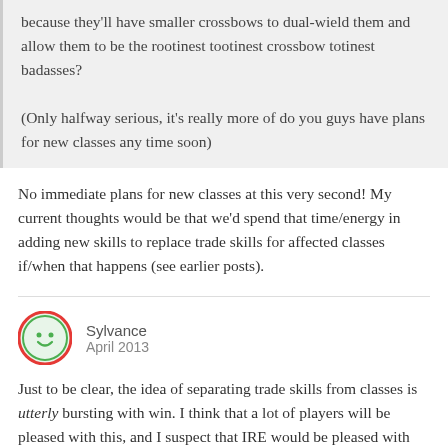because they'll have smaller crossbows to dual-wield them and allow them to be the rootinest tootinest crossbow totinest badasses?

(Only halfway serious, it's really more of do you guys have plans for new classes any time soon)
No immediate plans for new classes at this very second! My current thoughts would be that we'd spend that time/energy in adding new skills to replace trade skills for affected classes if/when that happens (see earlier posts).
Sylvance
April 2013
Just to be clear, the idea of separating trade skills from classes is utterly bursting with win. I think that a lot of players will be pleased with this, and I suspect that IRE would be pleased with credit/membership sales following such a change.